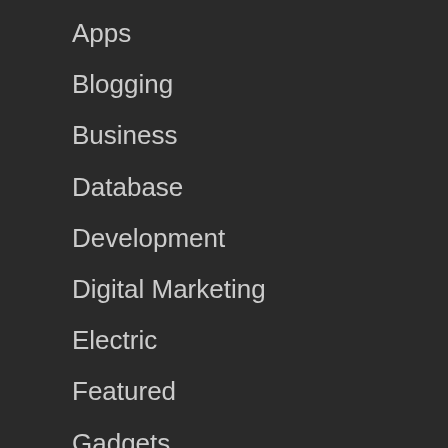Apps
Blogging
Business
Database
Development
Digital Marketing
Electric
Featured
Gadgets
Game
Hardware
Internet
Internet Marketing
Marketing